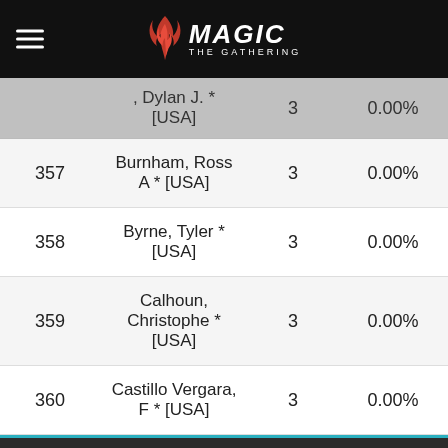Magic: The Gathering
| Rank | Name | Points | OMW% |
| --- | --- | --- | --- |
|  | , Dylan J. * [USA] | 3 | 0.00% |
| 357 | Burnham, Ross A * [USA] | 3 | 0.00% |
| 358 | Byrne, Tyler * [USA] | 3 | 0.00% |
| 359 | Calhoun, Christophe * [USA] | 3 | 0.00% |
| 360 | Castillo Vergara, F * [USA] | 3 | 0.00% |
We use necessary cookies to allow our site to function correctly and collect anonymous session data. Necessary cookies can be opted out through your browser settings. We also use optional cookies to personalize content and ads, provide social medial features and analyze web traffic. By clicking “OK, I agree,” you consent to optional cookies.
(Learn more about cookies.)